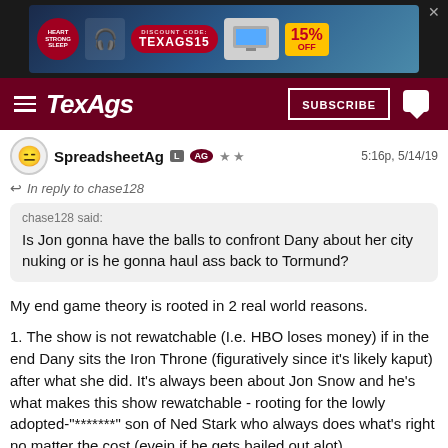[Figure (other): Advertisement banner for Heart Strong Sleep with discount code TEXAGS15 for 15% off]
TexAgs  SUBSCRIBE
SpreadsheetAg  L  AG  **   5:16p, 5/14/19
In reply to chase128
chase128 said: Is Jon gonna have the balls to confront Dany about her city nuking or is he gonna haul ass back to Tormund?
My end game theory is rooted in 2 real world reasons.
1. The show is not rewatchable (I.e. HBO loses money) if in the end Dany sits the Iron Throne (figuratively since it's likely kaput) after what she did. It's always been about Jon Snow and he's what makes this show rewatchable - rooting for the lowly adopted-"*******" son of Ned Stark who always does what's right no matter the cost (evein if he gets bailed out alot)
2. They writers and GRRM want a sad bittersweet ending to stay in line with their style throughout. What would be bittersweet? Jon finally